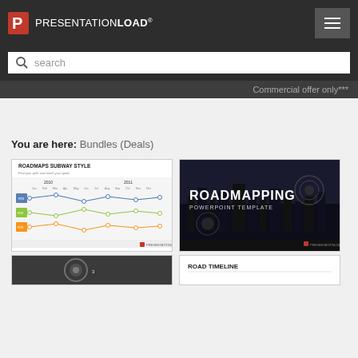PRESENTATIONLOAD®
search
Commercial offer only***
You are here: Bundles (Deals)
[Figure (screenshot): Product card showing Roadmaps Subway Style PowerPoint template with line chart roadmap]
[Figure (screenshot): Product card showing Roadmapping PowerPoint Template with dark city skyline background]
[Figure (screenshot): Product card showing circular roadmap template (partial, bottom row)]
[Figure (screenshot): Product card showing Road Timeline template with white background (partial, bottom row)]